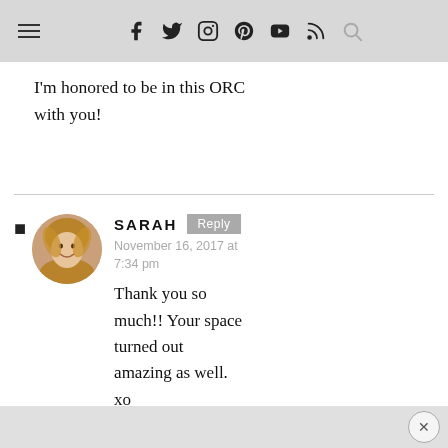Navigation bar with hamburger menu and social icons: f (Facebook), Twitter, Instagram, Pinterest, YouTube, RSS, Search
I'm honored to be in this ORC with you!
SARAH
November 16, 2017 at 7:34 pm
Thank you so much!! Your space turned out amazing as well. xo